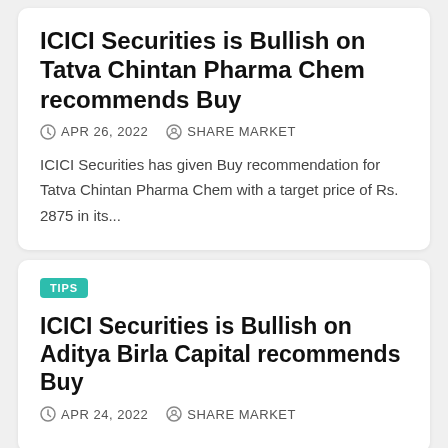ICICI Securities is Bullish on Tatva Chintan Pharma Chem recommends Buy
APR 26, 2022   SHARE MARKET
ICICI Securities has given Buy recommendation for Tatva Chintan Pharma Chem with a target price of Rs. 2875 in its...
ICICI Securities is Bullish on Aditya Birla Capital recommends Buy
APR 24, 2022   SHARE MARKET